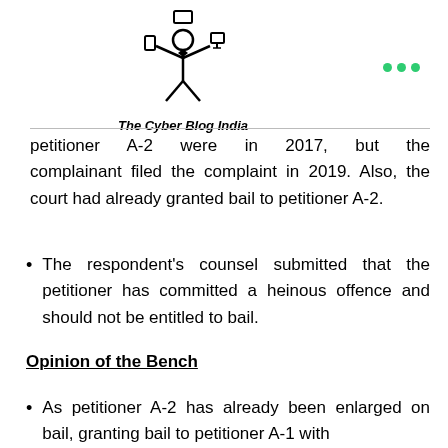[Figure (logo): The Cyber Blog India logo: a stick figure with arms raised holding devices, with text 'The Cyber Blog India' below]
petitioner A-2 were in 2017, but the complainant filed the complaint in 2019. Also, the court had already granted bail to petitioner A-2.
The respondent's counsel submitted that the petitioner has committed a heinous offence and should not be entitled to bail.
Opinion of the Bench
As petitioner A-2 has already been enlarged on bail, granting bail to petitioner A-1 with